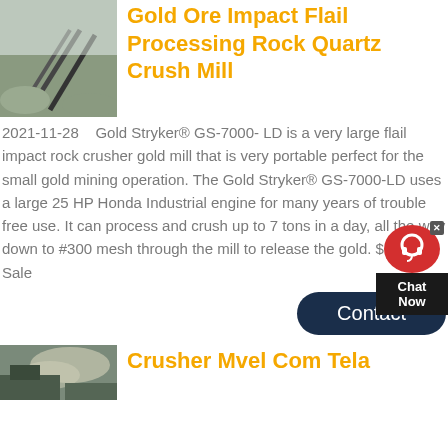[Figure (photo): Mining/crushing equipment aerial view with conveyor belts and rock piles]
Gold Ore Impact Flail Processing Rock Quartz Crush Mill
2021-11-28   Gold Stryker® GS-7000- LD is a very large flail impact rock crusher gold mill that is very portable perfect for the small gold mining operation. The Gold Stryker® GS-7000-LD uses a large 25 HP Honda Industrial engine for many years of trouble free use. It can process and crush up to 7 tons in a day, all the way down to #300 mesh through the mill to release the gold. $15999 Sale
[Figure (screenshot): Chat Now customer support widget with red circle icon and dark label]
[Figure (other): Contact button - dark navy rounded rectangle with white text]
[Figure (photo): Mining/crushing operation with dust and machinery at bottom of page]
Crusher Mvel Com Tela